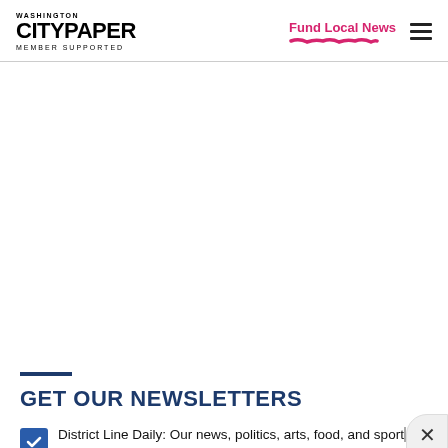Washington City Paper — Member Supported | Fund Local News
GET OUR NEWSLETTERS
District Line Daily: Our news, politics, arts, food, and sports